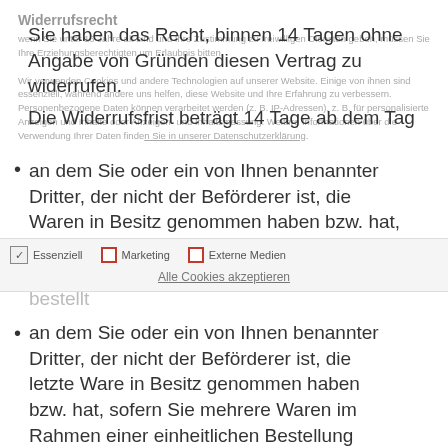Widerrufsrecht
Sie haben das Recht, binnen 14 Tagen ohne Angabe von Gründen diesen Vertrag zu widerrufen.
Die Widerrufsfrist beträgt 14 Tage ab dem Tag
an dem Sie oder ein von Ihnen benannter Dritter, der nicht der Beförderer ist, die Waren in Besitz genommen haben bzw. hat, sofern Sie eine oder mehrere Waren im Rahmen einer einheitlichen Bestellung bestellt haben und diese einheitlich geliefert wird bzw. werden;
Essenziell   Marketing   Externe Medien
Alle Cookies akzeptieren
an dem Sie oder ein von Ihnen benannter Dritter, der nicht der Beförderer ist, die letzte Ware in Besitz genommen haben bzw. hat, sofern Sie mehrere Waren im Rahmen einer einheitlichen Bestellung bestellt haben und diese getrennt geliefert